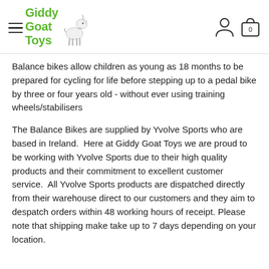Giddy Goat Toys — navigation header with hamburger menu, logo, user icon, and cart icon (0 items)
Balance bikes allow children as young as 18 months to be prepared for cycling for life before stepping up to a pedal bike by three or four years old - without ever using training wheels/stabilisers
The Balance Bikes are supplied by Yvolve Sports who are based in Ireland.  Here at Giddy Goat Toys we are proud to be working with Yvolve Sports due to their high quality products and their commitment to excellent customer service.  All Yvolve Sports products are dispatched directly from their warehouse direct to our customers and they aim to despatch orders within 48 working hours of receipt.  Please note that shipping make take up to 7 days depending on your location.